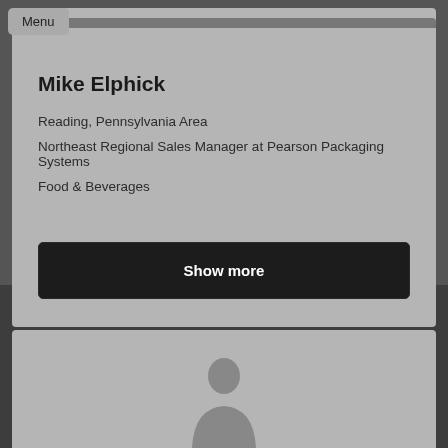Menu
Mike Elphick
Reading, Pennsylvania Area
Northeast Regional Sales Manager at Pearson Packaging Systems
Food & Beverages
Show more
[Figure (photo): Bottom card with partial silhouette image visible]